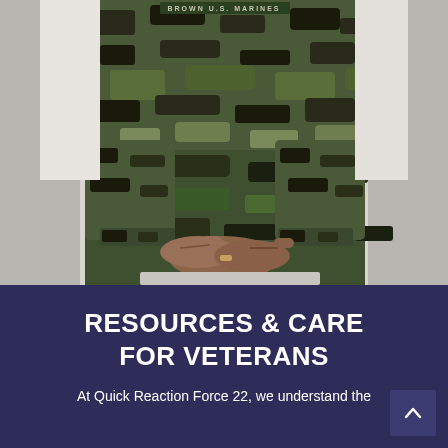[Figure (photo): A person in U.S. Marine Corps digital camouflage uniform sitting with hands clasped together in their lap, torso and hands visible, head not shown.]
RESOURCES & CARE FOR VETERANS
At Quick Reaction Force 22, we understand the